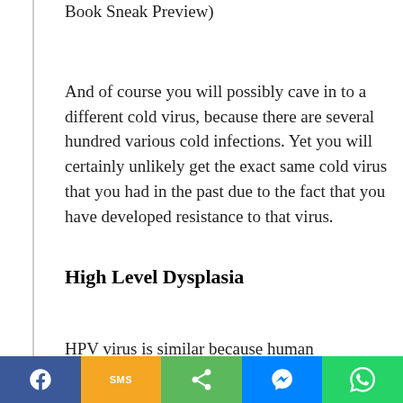Book Sneak Preview)
And of course you will possibly cave in to a different cold virus, because there are several hundred various cold infections. Yet you will certainly unlikely get the exact same cold virus that you had in the past due to the fact that you have developed resistance to that virus.
High Level Dysplasia
HPV virus is similar because human